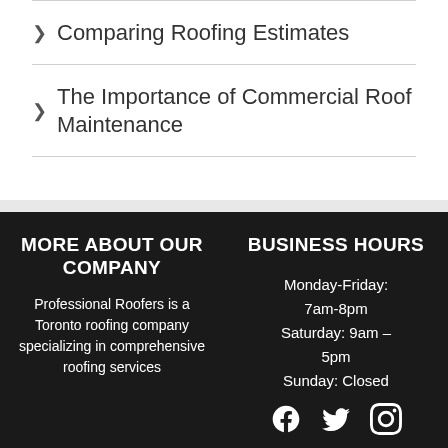Comparing Roofing Estimates
The Importance of Commercial Roof Maintenance
MORE ABOUT OUR COMPANY
Professional Roofers is a Toronto roofing company specializing in comprehensive roofing services
BUSINESS HOURS
Monday-Friday: 7am-8pm
Saturday: 9am – 5pm
Sunday: Closed
[Figure (other): Social media icons: Facebook, Twitter, Instagram]